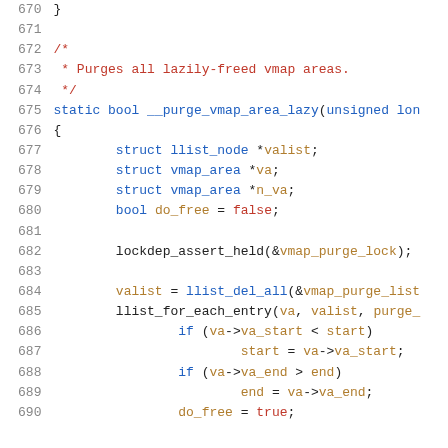[Figure (screenshot): Source code listing showing lines 670-690 of a C file, featuring a function __purge_vmap_area_lazy with syntax highlighting. Line numbers in gray on the left, keywords in blue, comments in red, values in red/orange.]